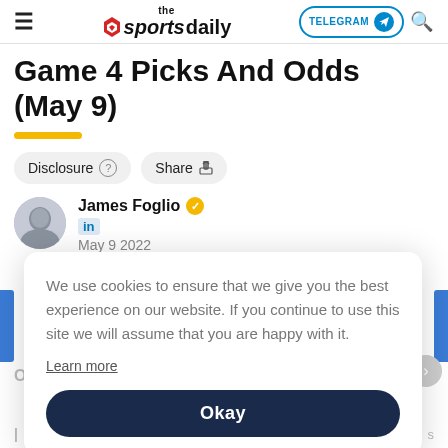the sportsdaily — TELEGRAM — Search
Game 4 Picks And Odds (May 9)
Disclosure  Share
James Foglio  May 9 2022
We use cookies to ensure that we give you the best experience on our website. If you continue to use this site we will assume that you are happy with it.
Learn more
Okay